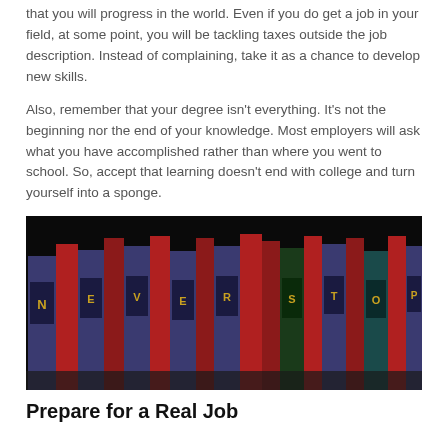that you will progress in the world. Even if you do get a job in your field, at some point, you will be tackling taxes outside the job description. Instead of complaining, take it as a chance to develop new skills.

Also, remember that your degree isn't everything. It's not the beginning nor the end of your knowledge. Most employers will ask what you have accomplished rather than where you went to school. So, accept that learning doesn't end with college and turn yourself into a sponge.
[Figure (photo): A row of red and blue books against a black background, with letters on the spines spelling out NEVER STOP LEARNING in gold letters on dark label tabs.]
Prepare for a Real Job